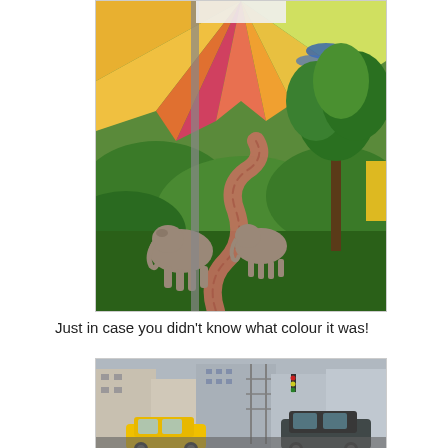[Figure (photo): A colorful wall mural featuring elephants on a green grassy landscape with a winding stone path, trees with green leaves, and a vivid abstract sunrise with pink, yellow, and blue rays in the upper background. A yellow sign and urban elements are partially visible on the right edge.]
Just in case you didn't know what colour it was!
[Figure (photo): A street-level urban scene showing buildings, scaffolding, traffic lights, and a yellow taxi cab in the foreground.]